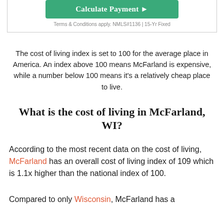[Figure (screenshot): Green 'Calculate Payment' button with arrow, on a white card with border, with 'Terms & Conditions apply. NMLS#1136 | 15-Yr Fixed' text below]
The cost of living index is set to 100 for the average place in America. An index above 100 means McFarland is expensive, while a number below 100 means it's a relatively cheap place to live.
What is the cost of living in McFarland, WI?
According to the most recent data on the cost of living, McFarland has an overall cost of living index of 109 which is 1.1x higher than the national index of 100.
Compared to only Wisconsin, McFarland has a